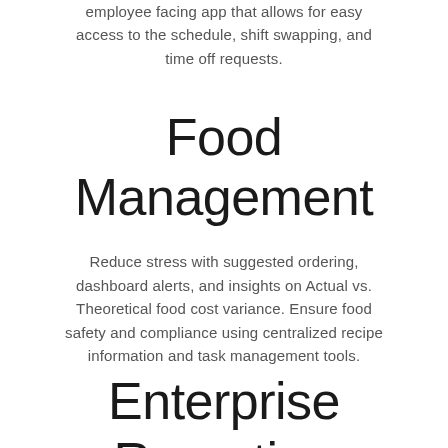employee facing app that allows for easy access to the schedule, shift swapping, and time off requests.
Food Management
Reduce stress with suggested ordering, dashboard alerts, and insights on Actual vs. Theoretical food cost variance. Ensure food safety and compliance using centralized recipe information and task management tools.
Enterprise Reporting